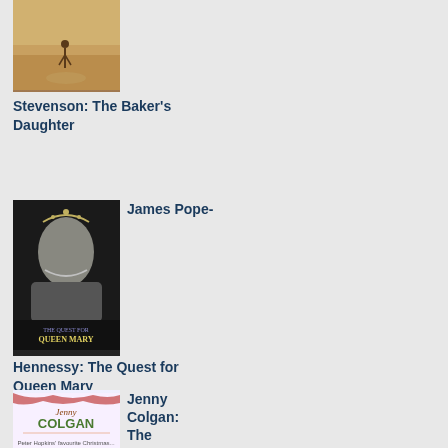[Figure (photo): Book cover for 'The Baker's Daughter' by Stevenson, showing a sepia-toned image of a person walking on a path]
Stevenson: The Baker's Daughter
[Figure (photo): Book cover for 'The Quest for Queen Mary' by James Pope-Hennessy, showing a black and white portrait of Queen Mary wearing a tiara and jewels]
James Pope-
Hennessy: The Quest for Queen Mary
[Figure (photo): Book cover for 'The Christmas Surprise' by Jenny Colgan, showing festive Christmas artwork with red and green decorations]
Jenny Colgan: The